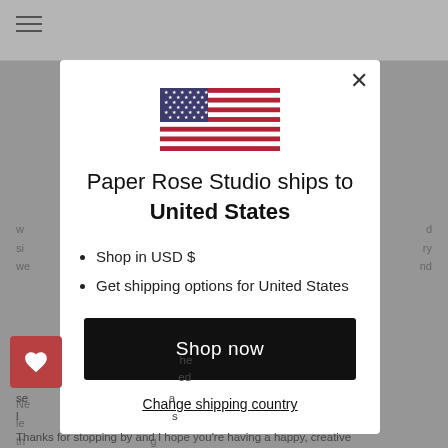[Figure (screenshot): Background website page with navigation bar, hamburger menu, and partial article text]
[Figure (illustration): US flag SVG icon centered in the modal]
Paper Rose Studio ships to United States
Shop in USD $
Get shipping options for United States
Shop now
Change shipping country